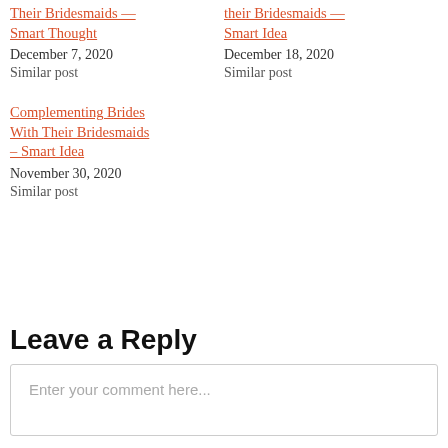Their Bridesmaids — Smart Thought
December 7, 2020
Similar post
their Bridesmaids — Smart Idea
December 18, 2020
Similar post
Complementing Brides With Their Bridesmaids – Smart Idea
November 30, 2020
Similar post
Leave a Reply
Enter your comment here...